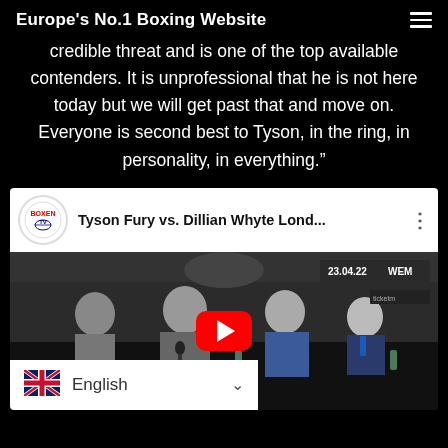Europe's No.1 Boxing Website
credible threat and is one of the top available contenders. It is unprofessional that he is not here today but we will get past that and move on. Everyone is second best to Tyson, in the ring, in personality, in everything.”
[Figure (screenshot): YouTube video thumbnail showing a press conference for Tyson Fury vs. Dillian Whyte London. Several men in suits are seated at a conference table with microphones. A red YouTube play button is overlaid in the center. The video title reads 'Tyson Fury vs. Dillian Whyte Lond...' with a date badge showing '23.04.22' and 'WEM'. A language selector bar at the bottom shows a UK flag and 'English'.]